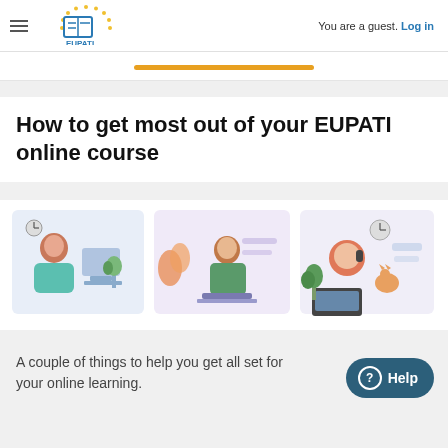You are a guest. Log in
[Figure (illustration): EUPATI Open Classroom logo with EU stars arc and book icon]
[Figure (illustration): Orange underline/progress bar]
How to get most out of your EUPATI online course
[Figure (illustration): Three illustrations: a woman working at a computer desk, a man with a laptop/presentation, and a man working on laptop with a cat nearby]
A couple of things to help you get all set for your online learning.